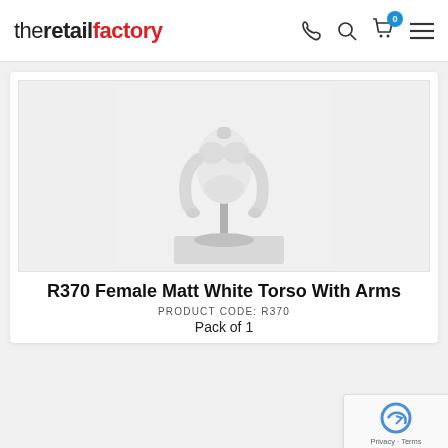theretailfactory
[Figure (photo): A white female mannequin torso with arms, on a chrome pole stand with a circular base on a white pedestal. Background is light grey/white.]
R370 Female Matt White Torso With Arms
PRODUCT CODE: R370
Pack of 1